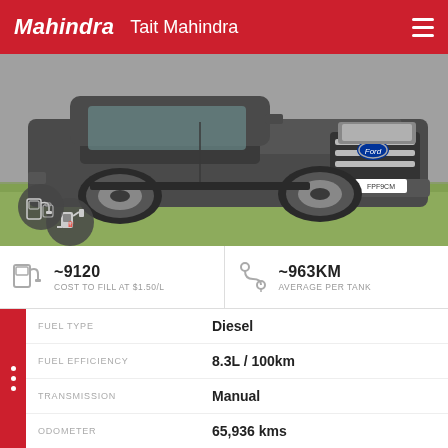Mahindra   Tait Mahindra
[Figure (photo): Front view of a dark grey Ford Ranger pickup truck parked on grass, with a fuel type badge icon overlay at bottom left]
~9120  COST TO FILL AT $1.50/L
~963KM  AVERAGE PER TANK
|  |  |
| --- | --- |
| FUEL TYPE | Diesel |
| FUEL EFFICIENCY | 8.3L / 100km |
| TRANSMISSION | Manual |
| ODOMETER | 65,936 kms |
USED VEHICLE